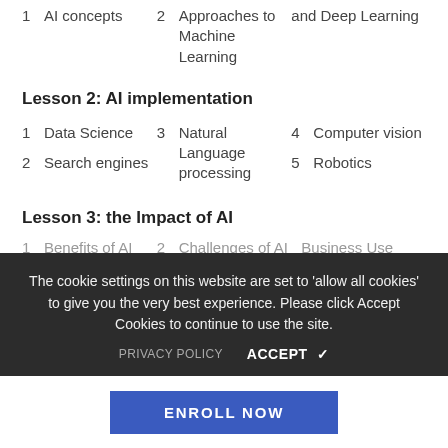1  AI concepts
2  Approaches to Machine Learning
and Deep Learning
Lesson 2: AI implementation
1  Data Science
2  Search engines
3  Natural Language processing
4  Computer vision
5  Robotics
Lesson 3: the Impact of AI
1  Benefits of AI
2  Challenges of AI
3  Business Use Cases for AI
Internet of th...
The cookie settings on this website are set to 'allow all cookies' to give you the very best experience. Please click Accept Cookies to continue to use the site.
PRIVACY POLICY   ACCEPT ✓
ENROLL NOW